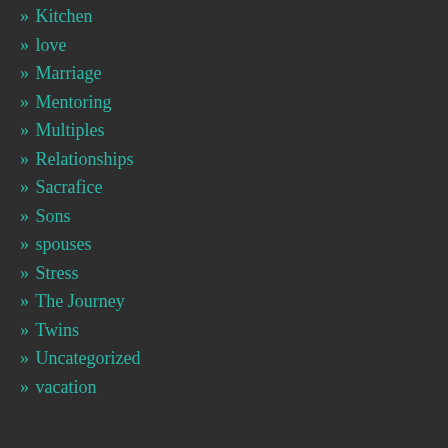» Kitchen
» love
» Marriage
» Mentoring
» Multiples
» Relationships
» Sacrafice
» Sons
» spouses
» Stress
» The Journey
» Twins
» Uncategorized
» vacation